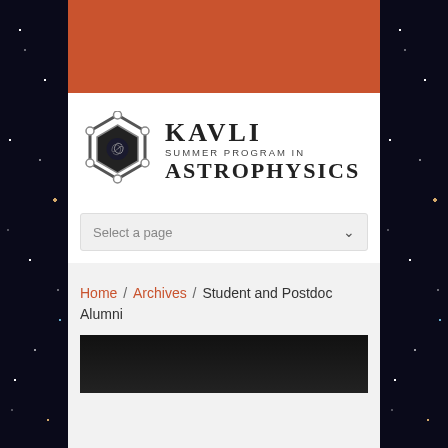[Figure (logo): Kavli Summer Program in Astrophysics logo with hexagonal icon containing a galaxy spiral, alongside text 'KAVLI SUMMER PROGRAM IN ASTROPHYSICS']
Select a page
Home / Archives / Student and Postdoc Alumni
[Figure (photo): Dark/black background image, partial view at bottom of page]